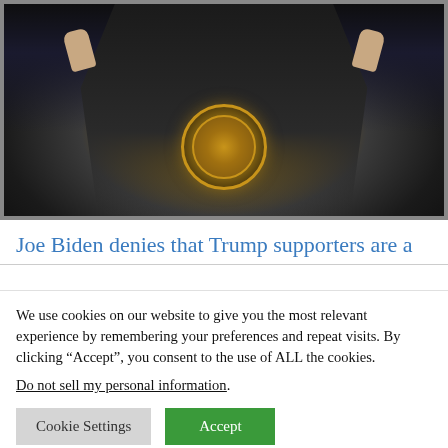[Figure (photo): A person in a dark suit standing at a podium with the Presidential Seal, hands raised, against a dark background.]
Joe Biden denies that Trump supporters are a
We use cookies on our website to give you the most relevant experience by remembering your preferences and repeat visits. By clicking “Accept”, you consent to the use of ALL the cookies.
Do not sell my personal information.